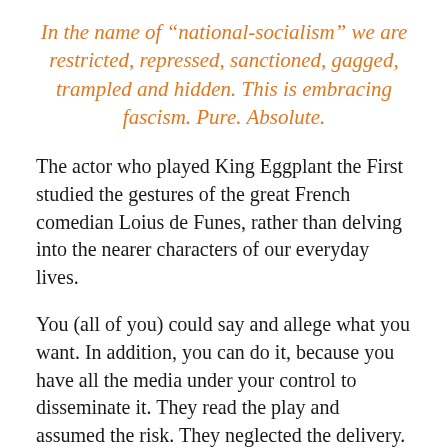In the name of “national-socialism” we are restricted, repressed, sanctioned, gagged, trampled and hidden. This is embracing fascism. Pure. Absolute.
The actor who played King Eggplant the First studied the gestures of the great French comedian Loius de Funes, rather than delving into the nearer characters of our everyday lives.
You (all of you) could say and allege what you want. In addition, you can do it, because you have all the media under your control to disseminate it. They read the play and assumed the risk. They neglected the delivery.